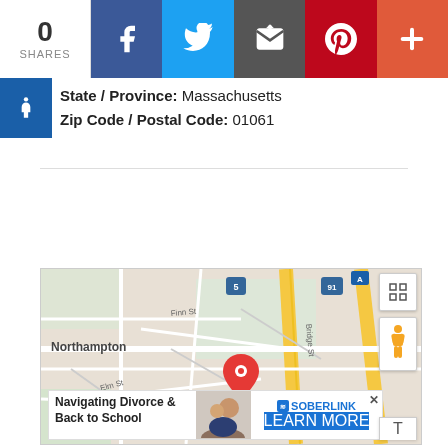[Figure (screenshot): Social share bar with 0 shares count, Facebook, Twitter, Email, Pinterest, and plus buttons]
State / Province: Massachusetts
Zip Code / Postal Code: 01061
[Figure (map): Google Maps showing Northampton, Massachusetts area with a red location pin marker, street names including Finn St, Bridge St, Elm St, Smith College Museum label visible. Route 5 and Route 91 visible. Soberlink ad overlay at bottom.]